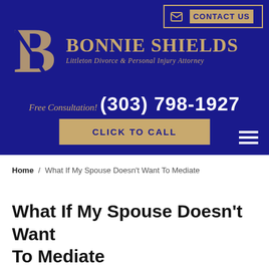[Figure (logo): Bonnie Shields law firm header banner with logo, firm name, phone number, and call-to-action button on dark blue background]
Home / What If My Spouse Doesn't Want To Mediate
What If My Spouse Doesn't Want To Mediate
In Colorado most courts will require that you mediate your divorce/custody case even when